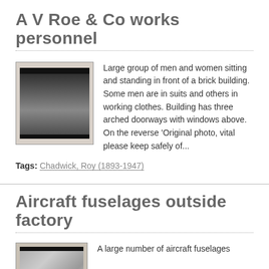A V Roe & Co works personnel
[Figure (photo): Black and white photograph of a large group of men and women in front of a brick building]
Large group of men and women sitting and standing in front of a brick building. Some men are in suits and others in working clothes. Building has three arched doorways with windows above. On the reverse 'Original photo, vital please keep safely of...
Tags: Chadwick, Roy (1893-1947)
Aircraft fuselages outside factory
[Figure (photo): Black and white photograph of aircraft fuselages outside a factory]
A large number of aircraft fuselages